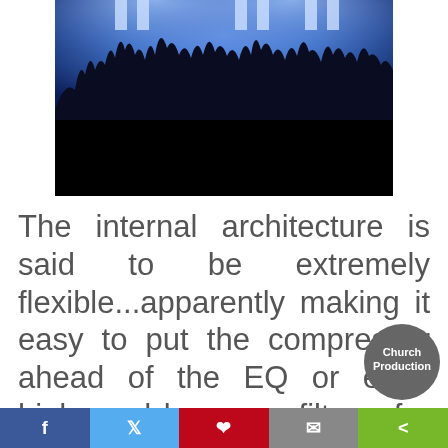[Figure (photo): Concert crowd photo with raised hands silhouetted against blue stage lighting, bottom half blacked out]
The internal architecture is said to be extremely flexible...apparently making it easy to put the compressor ahead of the EQ or even high- and low-pass filters, for example.
[Figure (logo): Church Production circular logo badge in dark grey]
f  twitter  pinterest  email  share (social sharing bar)